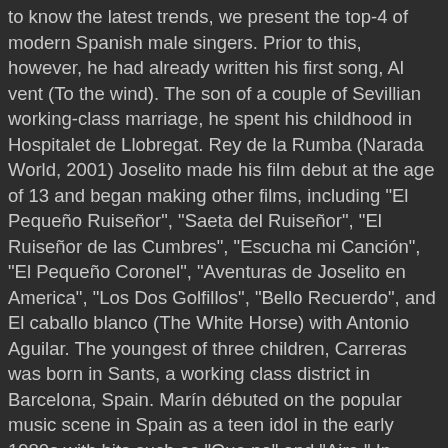to know the latest trends, we present the top-4 of modern Spanish male singers. Prior to this, however, he had already written his first song, Al vent (To the wind). The son of a couple of Sevillian working-class marriage, he spent his childhood in Hospitalet de Llobregat. Rey de la Rumba (Narada World, 2001) Joselito made his film debut at the age of 13 and began making other films, including "El Pequeño Ruiseñor", "Saeta del Ruiseñor", "El Ruiseñor de las Cumbres", "Escucha mi Canción", "El Pequeño Coronel", "Aventuras de Joselito en America", "Los Dos Golfillos", "Bello Recuerdo", and El caballo blanco (The White Horse) with Antonio Aguilar. The youngest of three children, Carreras was born in Sants, a working class district in Barcelona, Spain. Marín débuted on the popular music scene in Spain as a teen idol in the early 1980s with hits such as "Que no" and "Aire." In 1979, he interrupted his career to manage the career of his wife, the late singer Rocío Dúrcal with whom he had 3 children, including singer Shaila Dúrcal who is dedicated not only to her mother but also to her. He achieved commercial success with his album Cosas más